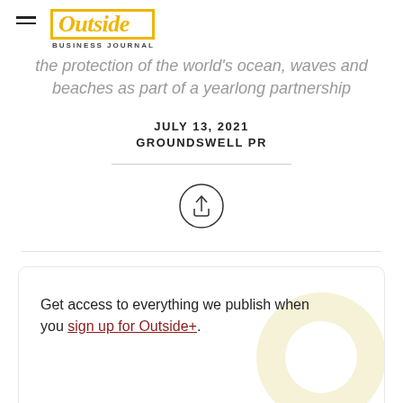Outside Business Journal
the protection of the world's ocean, waves and beaches as part of a yearlong partnership
JULY 13, 2021
GROUNDSWELL PR
[Figure (illustration): Share icon: upward arrow inside a circle]
Get access to everything we publish when you sign up for Outside+.